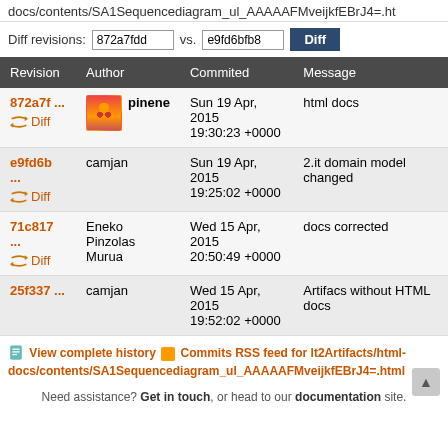docs/contents/SA1Sequencediagram_ul_AAAAAFMveijkfEBrJ4=.ht
Diff revisions: 872a7fdd vs. e9fd6bfb8  [Diff]
| Revision | Author | Commited | Message |
| --- | --- | --- | --- |
| 872a7f ...
Diff | pinene | Sun 19 Apr, 2015
19:30:23 +0000 | html docs |
| e9fd6b ...
Diff | camjan | Sun 19 Apr, 2015
19:25:02 +0000 | 2.it domain model changed |
| 71c817 ...
Diff | Eneko Pinzolas Murua | Wed 15 Apr, 2015
20:50:49 +0000 | docs corrected |
| 25f337 ...
Diff | camjan | Wed 15 Apr, 2015
19:52:02 +0000 | Artifacs without HTML docs |
View complete history  Commits RSS feed for lt2Artifacts/html-docs/contents/SA1Sequencediagram_ul_AAAAAFMveijkfEBrJ4=.html
Need assistance? Get in touch, or head to our documentation site.